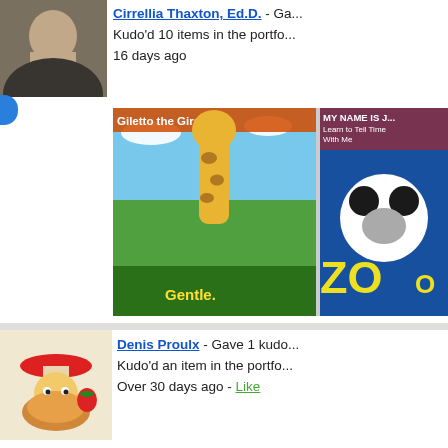Cirrellia Thaxton, Ed.D. - Gave ... Kudo'd 10 items in the portfolio. 16 days ago
[Figure (photo): Thumbnail images of children's book covers - Giletto the Giraffe and My Name is J... (ZOO panda book)]
Denis Proulx - Gave 1 kudo. Kudo'd an item in the portfolio. Over 30 days ago - Like
[Figure (photo): Children's book illustration showing characters in a teacup on the ocean]
Rogola - Gave 4 kudos. Kudo'd 4 items in the portfolio. Over 30 days ago
[Figure (photo): Thumbnail images of children's books - Big Belly Burt Toothbrush and We wear our Ma... (monkey)]